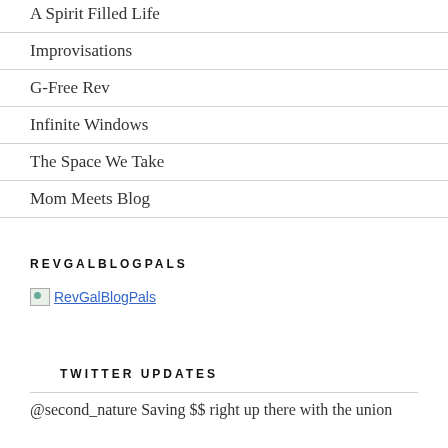A Spirit Filled Life
Improvisations
G-Free Rev
Infinite Windows
The Space We Take
Mom Meets Blog
REVGALBLOGPALS
[Figure (illustration): RevGalBlogPals image link]
TWITTER UPDATES
@second_nature Saving $$ right up there with the union